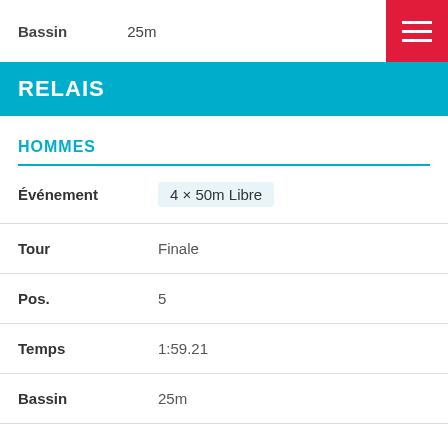Bassin   25m
RELAIS
HOMMES
| Field | Value |
| --- | --- |
| Événement | 4 × 50m Libre |
| Tour | Finale |
| Pos. | 5 |
| Temps | 1:59.21 |
| Bassin | 25m |